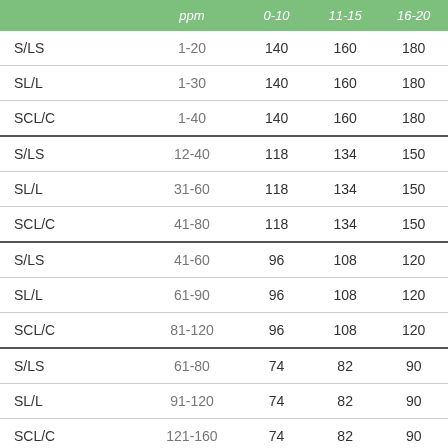|  | ppm | 0-10 | 11-15 | 16-20 |
| --- | --- | --- | --- | --- |
| S/LS | 1-20 | 140 | 160 | 180 |
| SL/L | 1-30 | 140 | 160 | 180 |
| SCL/C | 1-40 | 140 | 160 | 180 |
| S/LS | 12-40 | 118 | 134 | 150 |
| SL/L | 31-60 | 118 | 134 | 150 |
| SCL/C | 41-80 | 118 | 134 | 150 |
| S/LS | 41-60 | 96 | 108 | 120 |
| SL/L | 61-90 | 96 | 108 | 120 |
| SCL/C | 81-120 | 96 | 108 | 120 |
| S/LS | 61-80 | 74 | 82 | 90 |
| SL/L | 91-120 | 74 | 82 | 90 |
| SCL/C | 121-160 | 74 | 82 | 90 |
| S/LS | 81-100 | 52 | 56 | 60 |